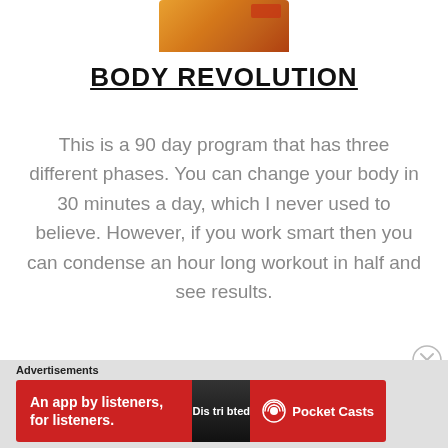[Figure (photo): Partial product box image at top of page, showing orange/brown packaging]
BODY REVOLUTION
This is a 90 day program that has three different phases. You can change your body in 30 minutes a day, which I never used to believe. However, if you work smart then you can condense an hour long workout in half and see results.
Advertisements
[Figure (infographic): Red advertisement banner for Pocket Casts app reading: An app by listeners, for listeners. Shows a smartphone with Distributed text and Pocket Casts logo and name.]